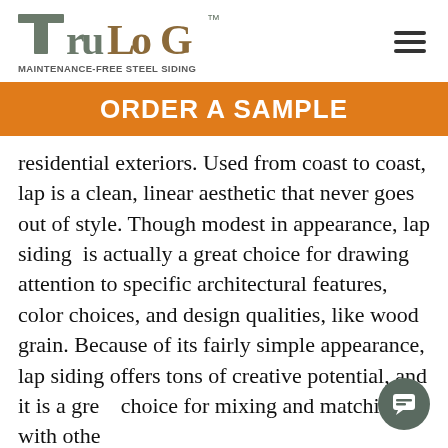TruLog™ MAINTENANCE-FREE STEEL SIDING
ORDER A SAMPLE
residential exteriors. Used from coast to coast, lap is a clean, linear aesthetic that never goes out of style. Though modest in appearance, lap siding is actually a great choice for drawing attention to specific architectural features, color choices, and design qualities, like wood grain. Because of its fairly simple appearance, lap siding offers tons of creative potential, and it is a great choice for mixing and matching with other